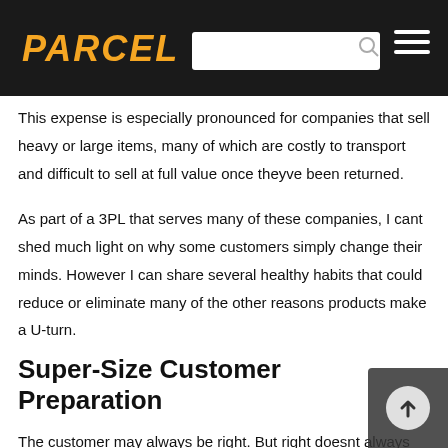PARCEL
This expense is especially pronounced for companies that sell heavy or large items, many of which are costly to transport and difficult to sell at full value once theyve been returned.
As part of a 3PL that serves many of these companies, I cant shed much light on why some customers simply change their minds. However I can share several healthy habits that could reduce or eliminate many of the other reasons products make a U-turn.
Super-Size Customer Preparation
The customer may always be right. But right doesnt always equal accurate. Too often, people cant predict whether the items theyve